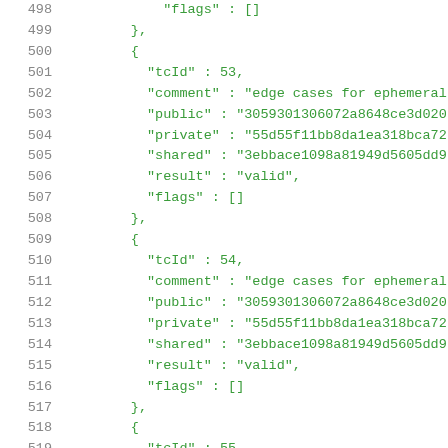498   "flags" : []
499   },
500   {
501     "tcId" : 53,
502     "comment" : "edge cases for ephemeral
503     "public" : "3059301306072a8648ce3d020
504     "private" : "55d55f11bb8da1ea318bca72
505     "shared" : "3ebbace1098a81949d5605dd9
506     "result" : "valid",
507     "flags" : []
508   },
509   {
510     "tcId" : 54,
511     "comment" : "edge cases for ephemeral
512     "public" : "3059301306072a8648ce3d020
513     "private" : "55d55f11bb8da1ea318bca72
514     "shared" : "3ebbace1098a81949d5605dd9
515     "result" : "valid",
516     "flags" : []
517   },
518   {
519     "tcId" : 55,